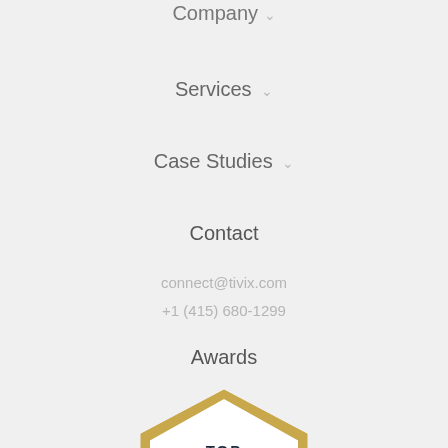Company ∨
Services ∨
Case Studies ∨
Contact
connect@tivix.com
+1 (415) 680-1299
Awards
[Figure (logo): Clutch Top B2B Companies Global 2018 badge — hexagonal badge with gold border, dark navy banner reading 'Clutch', text 'TOP B2B COMPANIES' and 'GLOBAL 2018']